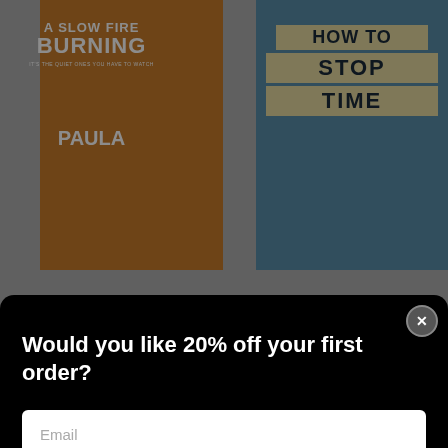[Figure (screenshot): Background showing four book covers in a 2x2 grid: top-left 'A Slow Fire Burning' by Paula Hawkins (orange cover), top-right 'How to Stop Time' (blue cover with hourglass), bottom-left 'Apples' by Liane Moriarty (light cover), bottom-right 'The Lincoln Highway' by Amor Towles (blue cover)]
[Figure (screenshot): Modal popup overlay on a bookstore website with black background, showing a promotional email signup form offering 20% off first order. Contains a title, email input field, and OK button. Has a circular close (X) button in top right corner.]
Would you like 20% off your first order?
Email
OK